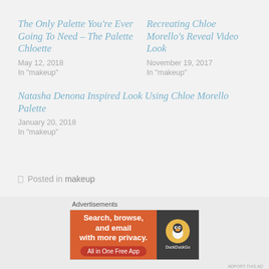The Only Palette You're Ever Going To Need – The Palette Chloette
May 12, 2018
In "makeup"
Recreating Chloe Morello's Reveal Video Look
November 19, 2017
In "makeup"
Natasha Denona Inspired Look Using Chloe Morello Palette
January 20, 2018
In "makeup"
Posted in makeup
Advertisements
[Figure (screenshot): DuckDuckGo advertisement banner: orange left panel with text 'Search, browse, and email with more privacy. All in One Free App', dark right panel with DuckDuckGo duck logo]